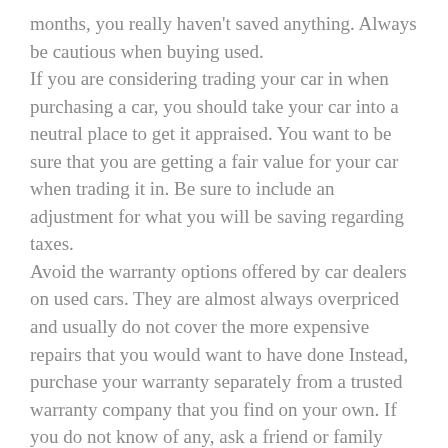months, you really haven't saved anything. Always be cautious when buying used. If you are considering trading your car in when purchasing a car, you should take your car into a neutral place to get it appraised. You want to be sure that you are getting a fair value for your car when trading it in. Be sure to include an adjustment for what you will be saving regarding taxes. Avoid the warranty options offered by car dealers on used cars. They are almost always overpriced and usually do not cover the more expensive repairs that you would want to have done Instead, purchase your warranty separately from a trusted warranty company that you find on your own. If you do not know of any, ask a friend or family member for advice. It may not be easy securing the best deal on a vehicle, but it doesn't have to be the most difficult situation either. You just have to know what to do in order to counter against the salesmen's tactics. Once you have this down, you're sure to do better on your next purchase.